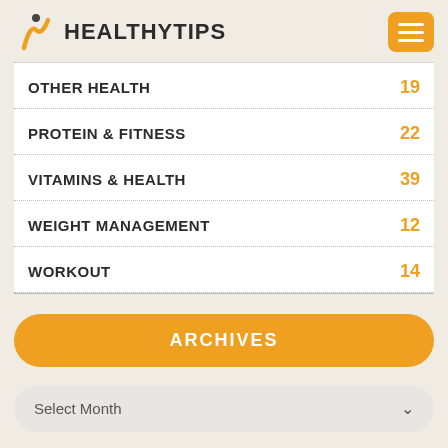[Figure (logo): HealthyTips logo with orange figure icon and bold text]
OTHER HEALTH 19
PROTEIN & FITNESS 22
VITAMINS & HEALTH 39
WEIGHT MANAGEMENT 12
WORKOUT 14
ARCHIVES
Select Month